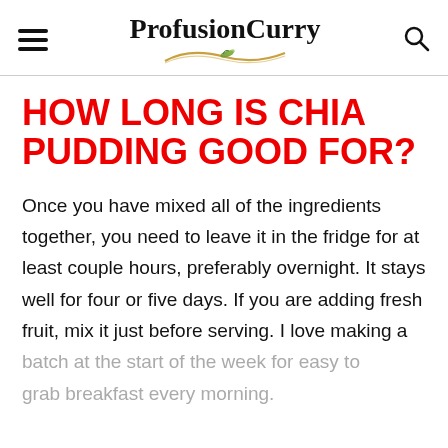ProfusionCurry
HOW LONG IS CHIA PUDDING GOOD FOR?
Once you have mixed all of the ingredients together, you need to leave it in the fridge for at least couple hours, preferably overnight. It stays well for four or five days. If you are adding fresh fruit, mix it just before serving. I love making a batch at the start of the week for easy to grab breakfast every morning.